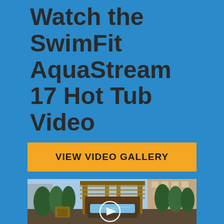Watch the SwimFit AquaStream 17 Hot Tub Video
VIEW VIDEO GALLERY
[Figure (photo): Outdoor hot tub (SwimFit AquaStream 17) under a wooden pergola structure, surrounded by tall evergreen trees and brick buildings in the background, with patio furniture visible. A circular play button overlay is shown in the center of the image.]